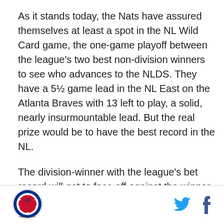As it stands today, the Nats have assured themselves at least a spot in the NL Wild Card game, the one-game playoff between the league's two best non-division winners to see who advances to the NLDS. They have a 5½ game lead in the NL East on the Atlanta Braves with 13 left to play, a solid, nearly insurmountable lead. But the real prize would be to have the best record in the NL.
The division-winner with the league's bet record will get to face off against the winner of the Wild Card game, a team that will have less rest than its opponent as they'll have needed to scrap for the Wild Card spot. They'll likely try to set up so that they have their best pitcher
[Figure (logo): Washington DC circular logo/seal]
[Figure (logo): Twitter bird icon and Facebook f icon social media buttons]